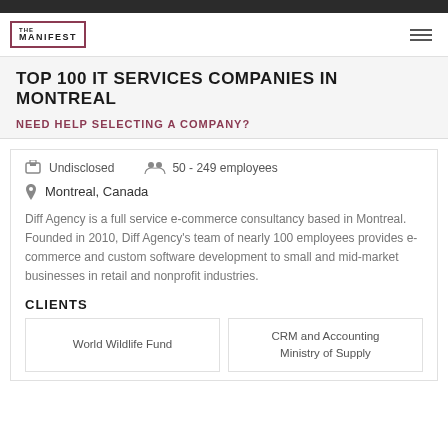THE MANIFEST
TOP 100 IT SERVICES COMPANIES IN MONTREAL
NEED HELP SELECTING A COMPANY?
Undisclosed   50 - 249 employees   Montreal, Canada
Diff Agency is a full service e-commerce consultancy based in Montreal. Founded in 2010, Diff Agency's team of nearly 100 employees provides e-commerce and custom software development to small and mid-market businesses in retail and nonprofit industries.
CLIENTS
World Wildlife Fund
CRM and Accounting Ministry of Supply